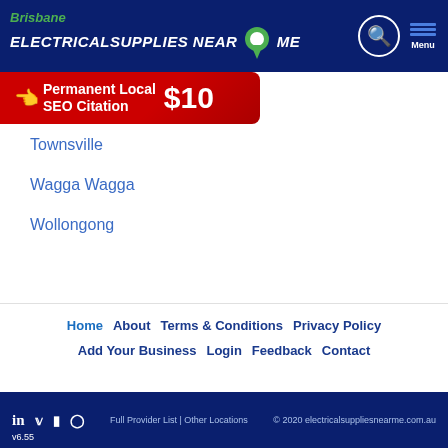Brisbane ELECTRICALSUPPLIES NEAR ME
[Figure (infographic): Red ad banner: Permanent Local SEO Citation $10 with hand/cursor icon]
Townsville
Wagga Wagga
Wollongong
Home | About | Terms & Conditions | Privacy Policy | Add Your Business | Login | Feedback | Contact
Full Provider List | Other Locations | © 2020 electricalsuppliesnearme.com.au | v6.55